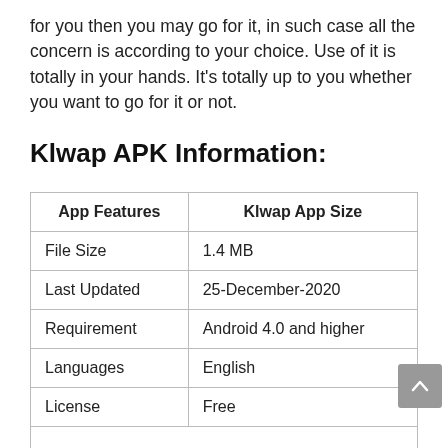for you then you may go for it, in such case all the concern is according to your choice. Use of it is totally in your hands. It's totally up to you whether you want to go for it or not.
Klwap APK Information:
| App Features | Klwap App Size |
| --- | --- |
| File Size | 1.4 MB |
| Last Updated | 25-December-2020 |
| Requirement | Android 4.0 and higher |
| Languages | English |
| License | Free |